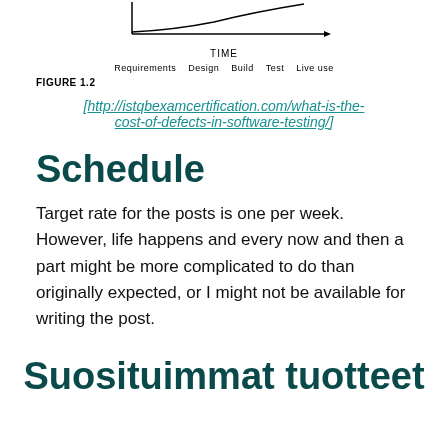[Figure (continuous-plot): Partial view of a cost-of-defects curve chart showing TIME on x-axis and a rising curve, with phase labels: Requirements, Design, Build, Test, Live use]
FIGURE 1.2
[http://istqbexamcertification.com/what-is-the-cost-of-defects-in-software-testing/]
Schedule
Target rate for the posts is one per week. However, life happens and every now and then a part might be more complicated to do than originally expected, or I might not be available for writing the post.
Suosituimmat tuotteet